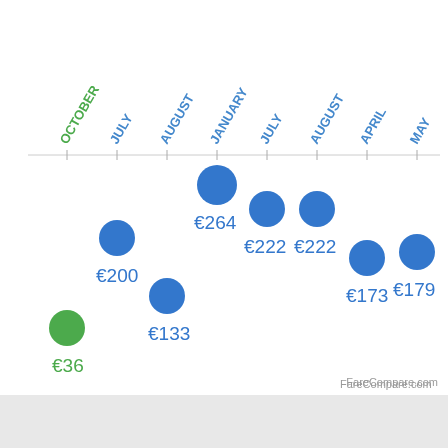[Figure (scatter-plot): Flight prices by month]
FareCompare.com